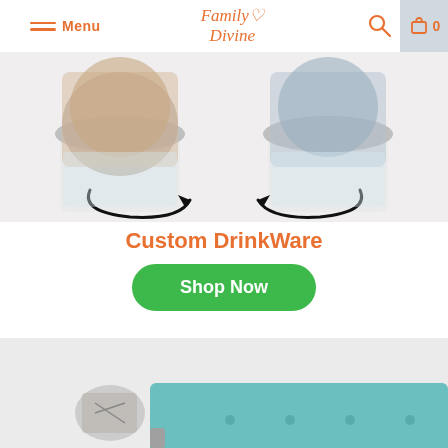Menu | Family Divine | Search | Cart 0
[Figure (photo): Two custom drinkware glasses with personalized photo lids showing faces of people, with circular arrows indicating the customization concept, on a white background.]
Custom DrinkWare
Shop Now
[Figure (photo): Partial view of a teal/turquoise upholstered bench or ottoman with button tufting, with a small decorative item visible to the left, on a light grey background.]